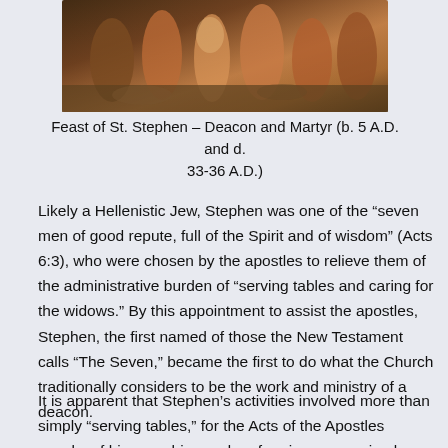[Figure (photo): A painting or artwork depicting a group of figures in historical/religious dress, partial view showing the lower portion of the scene.]
Feast of St. Stephen – Deacon and Martyr (b. 5 A.D. and d. 33-36 A.D.)
Likely a Hellenistic Jew, Stephen was one of the “seven men of good repute, full of the Spirit and of wisdom” (Acts 6:3), who were chosen by the apostles to relieve them of the administrative burden of “serving tables and caring for the widows.” By this appointment to assist the apostles, Stephen, the first named of those the New Testament calls “The Seven,” became the first to do what the Church traditionally considers to be the work and ministry of a deacon.
It is apparent that Stephen’s activities involved more than simply “serving tables,” for the Acts of the Apostles speaks of his preaching and performing many miracles. These